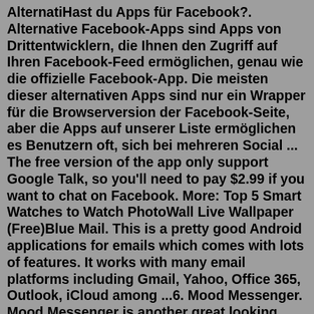AlternatiHast du Apps für Facebook?. Alternative Facebook-Apps sind Apps von Drittentwicklern, die Ihnen den Zugriff auf Ihren Facebook-Feed ermöglichen, genau wie die offizielle Facebook-App. Die meisten dieser alternativen Apps sind nur ein Wrapper für die Browserversion der Facebook-Seite, aber die Apps auf unserer Liste ermöglichen es Benutzern oft, sich bei mehreren Social ... The free version of the app only support Google Talk, so you'll need to pay $2.99 if you want to chat on Facebook. More: Top 5 Smart Watches to Watch PhotoWall Live Wallpaper (Free)Blue Mail. This is a pretty good Android applications for emails which comes with lots of features. It works with many email platforms including Gmail, Yahoo, Office 365, Outlook, iCloud among ...6. Mood Messenger. Mood Messenger is another great looking SMS app to add to this list. The design of the app seems clean, but the real draw is customization. Much like the others, Mood Messenger ...The best open source alternative to Facebook is Minds. If that doesn't suit you, our users have ranked